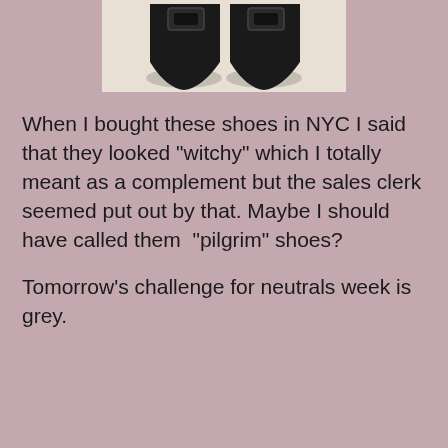[Figure (photo): Photo of two black pointed-toe heels with square buckle detail, viewed from above, on a light beige/white background]
When I bought these shoes in NYC I said that they looked "witchy" which I totally meant as a complement but the sales clerk seemed put out by that. Maybe I should have called them  "pilgrim" shoes?
Tomorrow's challenge for neutrals week is grey.